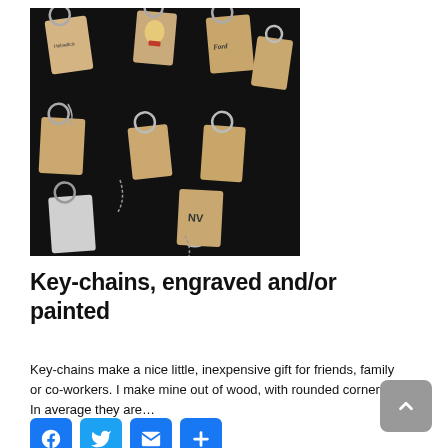[Figure (photo): A collection of wooden keychains with various engravings including cats, Ford logo, Helvetica logo, NV logo, and decorative designs, arranged on a dark background with silver keyrings.]
Key-chains, engraved and/or painted
Key-chains make a nice little, inexpensive gift for friends, family or co-workers. I make mine out of wood, with rounded corners. In average they are…
[Figure (infographic): Social sharing buttons: Facebook, Twitter, Email, and Add/More button in blue square tiles.]